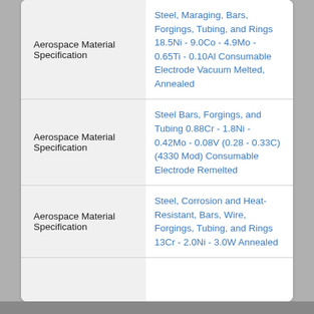|  |  |
| --- | --- |
| Aerospace Material Specification | Steel, Maraging, Bars, Forgings, Tubing, and Rings 18.5Ni - 9.0Co - 4.9Mo - 0.65Ti - 0.10Al Consumable Electrode Vacuum Melted, Annealed |
| Aerospace Material Specification | Steel Bars, Forgings, and Tubing 0.88Cr - 1.8Ni - 0.42Mo - 0.08V (0.28 - 0.33C) (4330 Mod) Consumable Electrode Remelted |
| Aerospace Material Specification | Steel, Corrosion and Heat-Resistant, Bars, Wire, Forgings, Tubing, and Rings 13Cr - 2.0Ni - 3.0W Annealed |